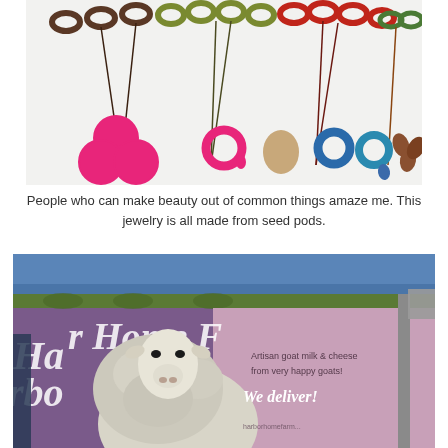[Figure (photo): Colorful necklaces made from seed pods laid out on a white surface. Various colors including brown, olive green, red, green, pink, tan, and blue. Necklaces feature oval and circular shaped seed pod beads on cords.]
People who can make beauty out of common things amaze me. This jewelry is all made from seed pods.
[Figure (photo): A banner for 'Harbor Home Farm' with purple/mauve and green colors showing a white goat. Text on banner reads: 'Artisan goat milk & cheese from very happy goats! We deliver!' A blue tent canopy is visible at the top.]